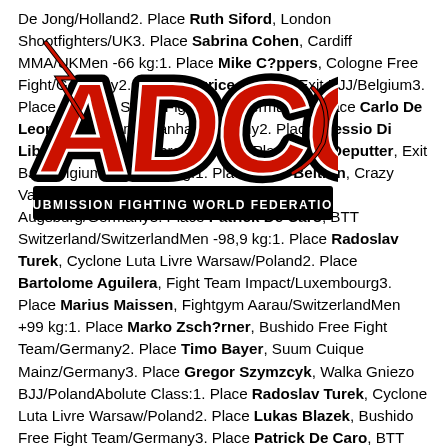De Jong/Holland2. Place Ruth Siford, London Shootfighters/UK3. Place Sabrina Cohen, Cardiff MMA/UKMen -66 kg:1. Place Mike C?ppers, Cologne Free Fight/Germany2. Place Maurice Goffart, Exit BJJ/Belgium3. Place Sabrini, Storm Fight Club/Germany1. Place Carlo De Leonardis, Team Piranha/Germany2. Place Alessio Di Liberti, Gladiatori Labronici/Italy3. Place Wim Deputter, Exit BJJ/BelgiumMen -87,9 kg:1. Place 'Tito' Beltran, Crazy Valencia/Spain2. Place Peter Frontera, MAG Augsburg/Germany3. Place Patrick De Caro, BTT Switzerland/SwitzerlandMen -98,9 kg:1. Place Radoslav Turek, Cyclone Luta Livre Warsaw/Poland2. Place Bartolome Aguilera, Fight Team Impact/Luxembourg3. Place Marius Maissen, Fightgym Aarau/SwitzerlandMen +99 kg:1. Place Marko Zsch?rner, Bushido Free Fight Team/Germany2. Place Timo Bayer, Suum Cuique Mainz/Germany3. Place Gregor Szymzcyk, Walka Gniezo BJJ/PolandAbolute Class:1. Place Radoslav Turek, Cyclone Luta Livre Warsaw/Poland2. Place Lukas Blazek, Bushido Free Fight Team/Germany3. Place Patrick De Caro, BTT Switzerland/SwitzerlandUGC Superfight:1. Place Dean
[Figure (logo): ADCC Submission Fighting World Federation logo — red graffiti-style lettering ADCC with black outline on white background, with banner text 'SUBMISSION FIGHTING WORLD FEDERATION' below]